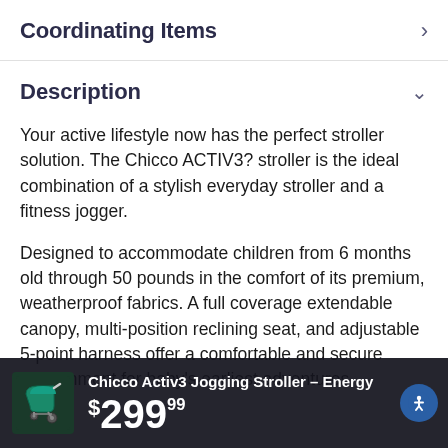Coordinating Items
Description
Your active lifestyle now has the perfect stroller solution. The Chicco ACTIV3? stroller is the ideal combination of a stylish everyday stroller and a fitness jogger.
Designed to accommodate children from 6 months old through 50 pounds in the comfort of its premium, weatherproof fabrics. A full coverage extendable canopy, multi-position reclining seat, and adjustable 5-point harness offer a comfortable and secure environment for baby's earliest adventures.
Chicco Activ3 Jogging Stroller – Energy $299.99